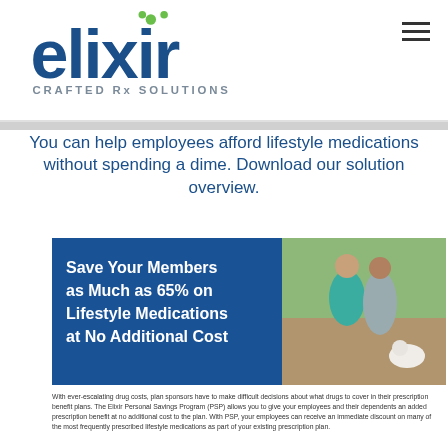elixir CRAFTED Rx SOLUTIONS
You can help employees afford lifestyle medications without spending a dime. Download our solution overview.
[Figure (infographic): Promotional brochure image with dark blue background on the left showing bold white text 'Save Your Members as Much as 65% on Lifestyle Medications at No Additional Cost', and on the right a photo of a couple walking a white dog outdoors.]
With ever-escalating drug costs, plan sponsors have to make difficult decisions about what drugs to cover in their prescription benefit plans. The Elixir Personal Savings Program (PSP) allows you to give your employees and their dependents an added prescription benefit at no additional cost to the plan. With PSP, your employees can receive an immediate discount on many of the most frequently prescribed lifestyle medications as part of your existing prescription plan.